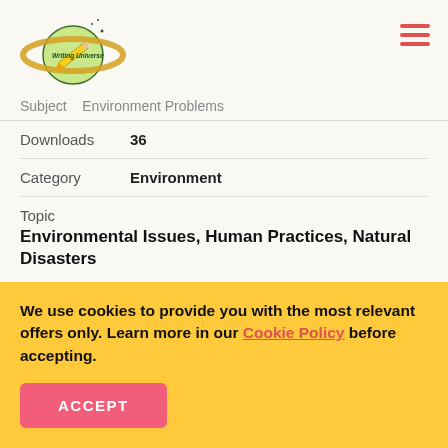[Figure (logo): Writing Universe logo with planet and pencil illustration]
Subject    Environment Problems
Downloads  36
Category   Environment
Topic
Environmental Issues, Human Practices, Natural Disasters
Disclaimer
We use cookies to provide you with the most relevant offers only. Learn more in our Cookie Policy before accepting.
ACCEPT